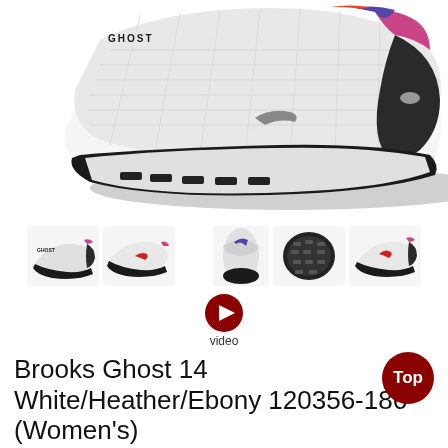[Figure (photo): Main product image of Brooks Ghost 14 running shoe in white/heather/ebony colorway, shown from lateral side angle against white background]
[Figure (photo): Row of 5 small thumbnail images of the Brooks Ghost 14 shoe from different angles: lateral, medial, front top, sole bottom, and another lateral angle. A video play button with 'video' label is also shown.]
Brooks Ghost 14 White/Heather/Ebony 120356-186 (Women's)
Item # 29389